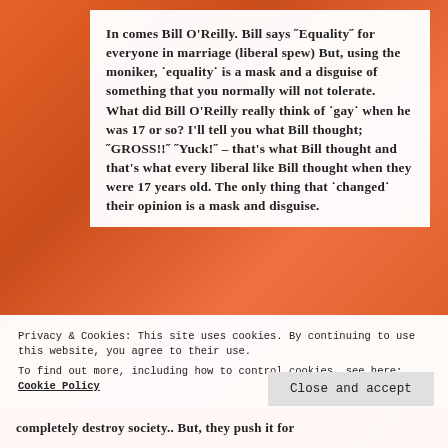In comes Bill O'Reilly.  Bill says "Equality" for everyone in marriage (liberal spew)  But, using the moniker, 'equality' is a mask and a disguise of something that you normally will not tolerate.  What did Bill O'Reilly really think of 'gay' when he was 17 or so?  I'll tell you what Bill thought; "GROSS!!"  "Yuck!" – that's what Bill thought and that's what every liberal like Bill thought when they were 17 years old.  The only thing that 'changed' their opinion is a mask and disguise.
REPORT THIS AD
Privacy & Cookies: This site uses cookies. By continuing to use this website, you agree to their use.
To find out more, including how to control cookies, see here: Cookie Policy
Close and accept
completely destroy society.. But, they push it for